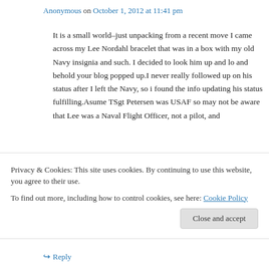Anonymous on October 1, 2012 at 11:41 pm
It is a small world–just unpacking from a recent move I came across my Lee Nordahl bracelet that was in a box with my old Navy insignia and such. I decided to look him up and lo and behold your blog popped up.I never really followed up on his status after I left the Navy, so i found the info updating his status fulfilling.Asume TSgt Petersen was USAF so may not be aware that Lee was a Naval Flight Officer, not a pilot, and
Privacy & Cookies: This site uses cookies. By continuing to use this website, you agree to their use.
To find out more, including how to control cookies, see here: Cookie Policy
Close and accept
Reply